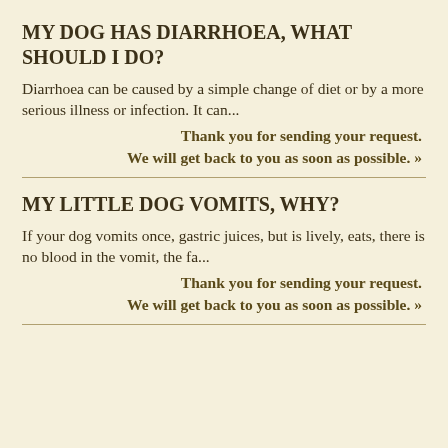MY DOG HAS DIARRHOEA, WHAT SHOULD I DO?
Diarrhoea can be caused by a simple change of diet or by a more serious illness or infection. It can...
Thank you for sending your request.
We will get back to you as soon as possible. »
MY LITTLE DOG VOMITS, WHY?
If your dog vomits once, gastric juices, but is lively, eats, there is no blood in the vomit, the fa...
Thank you for sending your request.
We will get back to you as soon as possible. »